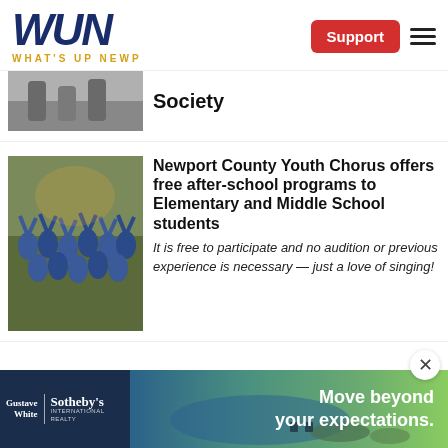WUN WHAT'S UP NEWP | Support
[Figure (photo): Partial image of people walking on a road/basketball court]
Society
[Figure (photo): Group of children in blue shirts with arms raised, performing chorus]
Newport County Youth Chorus offers free after-school programs to Elementary and Middle School students
It is free to participate and no audition or previous experience is necessary — just a love of singing!
[Figure (photo): Gustave White Sotheby's International Realty advertisement banner: Move beyond your expectations.]
Move beyond your expectations.